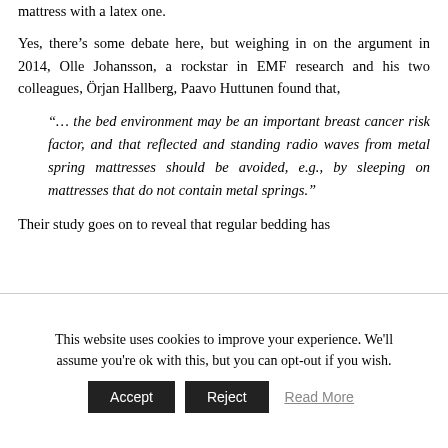mattress with a latex one.
Yes, there's some debate here, but weighing in on the argument in 2014, Olle Johansson, a rockstar in EMF research and his two colleagues, Örjan Hallberg, Paavo Huttunen found that,
"… the bed environment may be an important breast cancer risk factor, and that reflected and standing radio waves from metal spring mattresses should be avoided, e.g., by sleeping on mattresses that do not contain metal springs."
Their study goes on to reveal that regular bedding has
This website uses cookies to improve your experience. We'll assume you're ok with this, but you can opt-out if you wish.